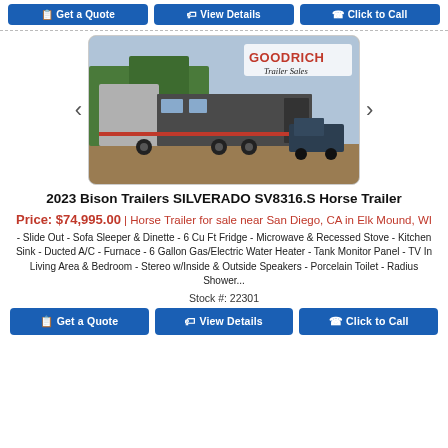[Figure (screenshot): Top action buttons: Get a Quote, View Details, Click to Call (partially visible at top)]
[Figure (photo): Photo of a 2023 Bison Trailers SILVERADO SV8316.S Horse Trailer with Goodrich Trailer Sales logo overlay. Silver/gray horse trailer parked outdoors.]
2023 Bison Trailers SILVERADO SV8316.S Horse Trailer
Price: $74,995.00 | Horse Trailer for sale near San Diego, CA in Elk Mound, WI
- Slide Out - Sofa Sleeper & Dinette - 6 Cu Ft Fridge - Microwave & Recessed Stove - Kitchen Sink - Ducted A/C - Furnace - 6 Gallon Gas/Electric Water Heater - Tank Monitor Panel - TV In Living Area & Bedroom - Stereo w/Inside & Outside Speakers - Porcelain Toilet - Radius Shower...
Stock #: 22301
[Figure (screenshot): Bottom action buttons: Get a Quote, View Details, Click to Call]